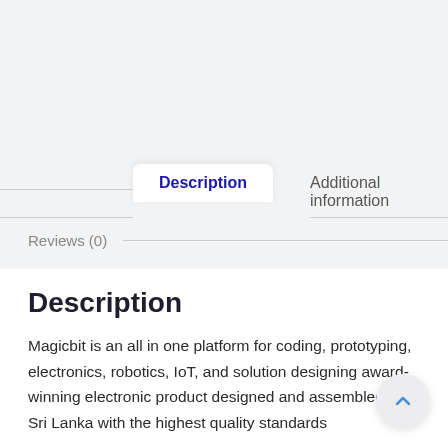Description
Additional information
Reviews (0)
Description
Magicbit is an all in one platform for coding, prototyping, electronics, robotics, IoT, and solution designing award-winning electronic product designed and assembled in Sri Lanka with the highest quality standards